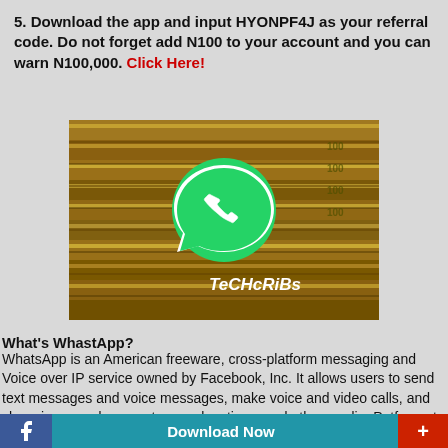5. Download the app and input HYONPF4J as your referral code. Do not forget add N100 to your account and you can warn N100,000. Click Here!
[Figure (photo): Photo of stacked bundles of US dollar bills with WhatsApp logo overlaid in the center and 'TeCHcRiBs' text watermark at bottom right.]
What's WhastApp?
WhatsApp is an American freeware, cross-platform messaging and Voice over IP service owned by Facebook, Inc. It allows users to send text messages and voice messages, make voice and video calls, and share images, documents, user locations, and other media. Patforms to make money on WhatsApp.
Download Now